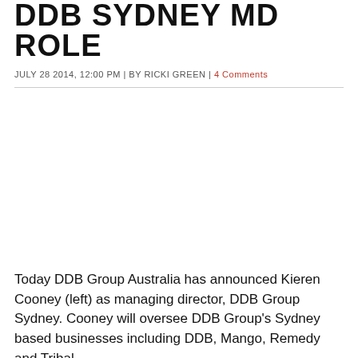DDB SYDNEY MD ROLE
JULY 28 2014, 12:00 PM | BY RICKI GREEN | 4 Comments
[Figure (photo): Photo placeholder — image of two people referenced in article (left is Kieren Cooney)]
Today DDB Group Australia has announced Kieren Cooney (left) as managing director, DDB Group Sydney. Cooney will oversee DDB Group's Sydney based businesses including DDB, Mango, Remedy and Tribal.